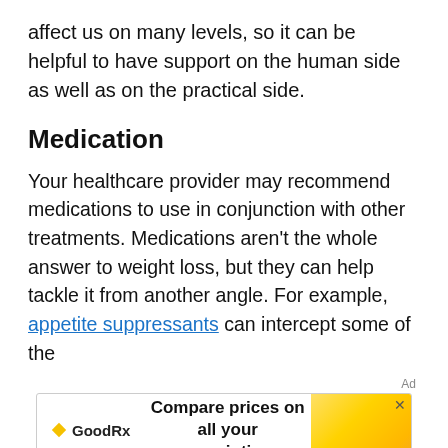affect us on many levels, so it can be helpful to have support on the human side as well as on the practical side.
Medication
Your healthcare provider may recommend medications to use in conjunction with other treatments. Medications aren’t the whole answer to weight loss, but they can help tackle it from another angle. For example, appetite suppressants can intercept some of the
[Figure (other): GoodRx advertisement banner: 'Compare prices on all your prescriptions' with GoodRx logo and yellow/gold graphic on the right side.]